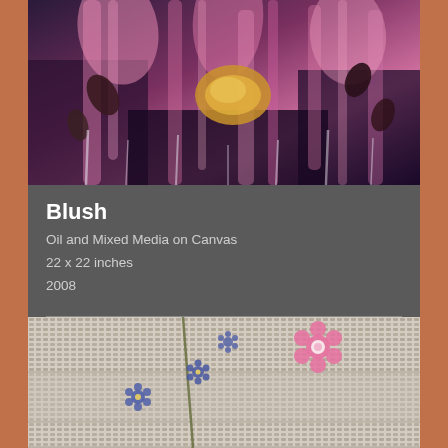[Figure (photo): Abstract painting with pinks, purples, and a gold shape — oil and mixed media on canvas titled Blush]
Blush
Oil and Mixed Media on Canvas
22 x 22 inches
2008
[Figure (photo): Close-up of a lace or woven textile with embroidered floral details — blue flowers, a red flower, and an orange curved element on a white textured background]